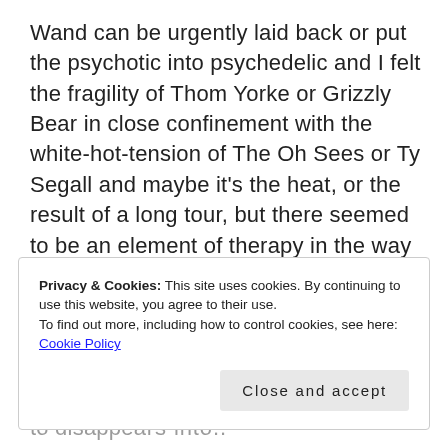Wand can be urgently laid back or put the psychotic into psychedelic and I felt the fragility of Thom Yorke or Grizzly Bear in close confinement with the white-hot-tension of The Oh Sees or Ty Segall and maybe it's the heat, or the result of a long tour, but there seemed to be an element of therapy in the way Cory Hanson attacked his guitar (sometimes with a violin bow) and wrenched chords and glissando runs out of the wood and metal. And when you think his plaintive voice threatens to disapp…
Privacy & Cookies: This site uses cookies. By continuing to use this website, you agree to their use.
To find out more, including how to control cookies, see here:
Cookie Policy
Close and accept